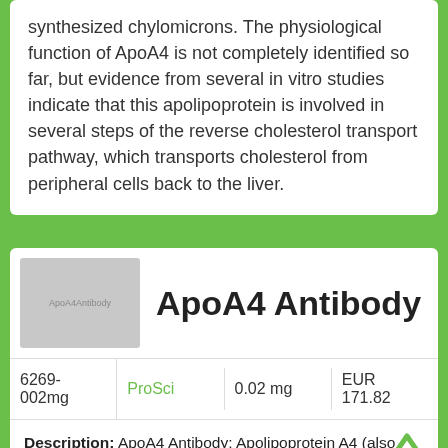synthesized chylomicrons. The physiological function of ApoA4 is not completely identified so far, but evidence from several in vitro studies indicate that this apolipoprotein is involved in several steps of the reverse cholesterol transport pathway, which transports cholesterol from peripheral cells back to the liver.
[Figure (photo): Product image placeholder for ApoA4Antibody]
ApoA4 Antibody
|  | ProSci | 0.02 mg | EUR 171.82 |
| --- | --- | --- | --- |
| 6269-002mg | ProSci | 0.02 mg | EUR 171.82 |
Description: ApoA4 Antibody: Apolipoprotein A4 (also known as ApoA-IV) is a plasma protein that is